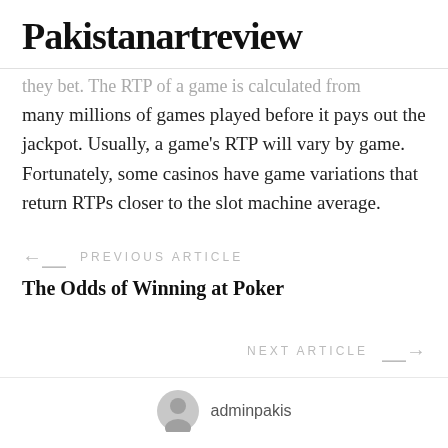Pakistanartreview
…they bet. The RTP of a game is calculated from many millions of games played before it pays out the jackpot. Usually, a game's RTP will vary by game. Fortunately, some casinos have game variations that return RTPs closer to the slot machine average.
← PREVIOUS ARTICLE
The Odds of Winning at Poker
NEXT ARTICLE →
adminpakis